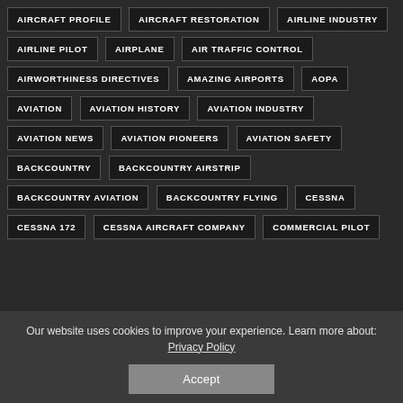AIRCRAFT PROFILE
AIRCRAFT RESTORATION
AIRLINE INDUSTRY
AIRLINE PILOT
AIRPLANE
AIR TRAFFIC CONTROL
AIRWORTHINESS DIRECTIVES
AMAZING AIRPORTS
AOPA
AVIATION
AVIATION HISTORY
AVIATION INDUSTRY
AVIATION NEWS
AVIATION PIONEERS
AVIATION SAFETY
BACKCOUNTRY
BACKCOUNTRY AIRSTRIP
BACKCOUNTRY AVIATION
BACKCOUNTRY FLYING
CESSNA
CESSNA 172
CESSNA AIRCRAFT COMPANY
COMMERCIAL PILOT
Our website uses cookies to improve your experience. Learn more about: Privacy Policy
Accept